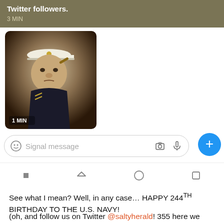Twitter followers.
3 MIN
[Figure (photo): Black and white photo of a heavyset man in a white naval officer cap holding a cigar, with label '1 MIN']
Signal message input bar with camera and microphone icons
Android navigation bar with back, home, and recents buttons
See what I mean? Well, in any case… HAPPY 244TH BIRTHDAY TO THE U.S. NAVY!

(oh, and follow us on Twitter @saltyherald! 355 here we come!)